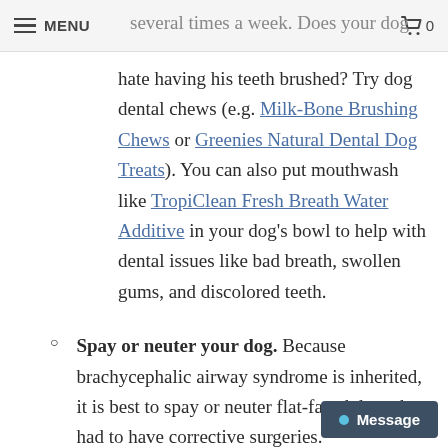MENU   several times a week. Does your dog   0
hate having his teeth brushed? Try dog dental chews (e.g. Milk-Bone Brushing Chews or Greenies Natural Dental Dog Treats). You can also put mouthwash like TropiClean Fresh Breath Water Additive in your dog’s bowl to help with dental issues like bad breath, swollen gums, and discolored teeth.
Spay or neuter your dog. Because brachycephalic airway syndrome is inherited, it is best to spay or neuter flat-faced dogs that had to have corrective surgeries.
Take travel precautions. Alaska Airlines,